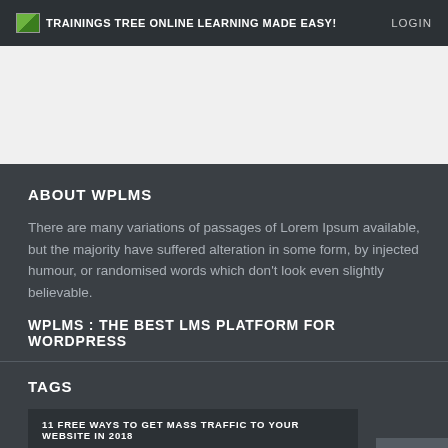TRAININGS TREE ONLINE LEARNING MADE EASY! | LOGIN
[Figure (screenshot): White/light gray banner area (advertisement or hero image placeholder)]
ABOUT WPLMS
There are many variations of passages of Lorem Ipsum available, but the majority have suffered alteration in some form, by injected humour, or randomised words which don't look even slightly believable.
WPLMS : THE BEST LMS PLATFORM FOR WORDPRESS
TAGS
11 FREE WAYS TO GET MASS TRAFFIC TO YOUR WEBSITE IN 2018
AFTER
BEAUTICIAN COURSES